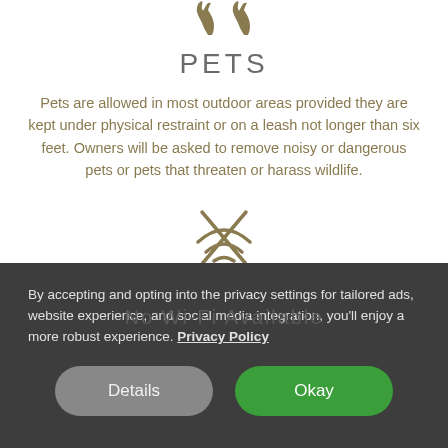[Figure (illustration): Decorative deer/wildlife icon at the top of the page in olive/gold color]
PETS
Pets are allowed in most outdoor areas provided they are kept under physical restraint or on a leash not longer than six feet. Owners will be asked to remove noisy or dangerous pets or pets that threaten or harass wildlife.
[Figure (illustration): No WiFi icon (WiFi symbol with an X through it) in olive/gold color]
No Wifi Available
By accepting and opting into the privacy settings for tailored ads, website experience, and social media integration, you'll enjoy a more robust experience. Privacy Policy
Details
Okay